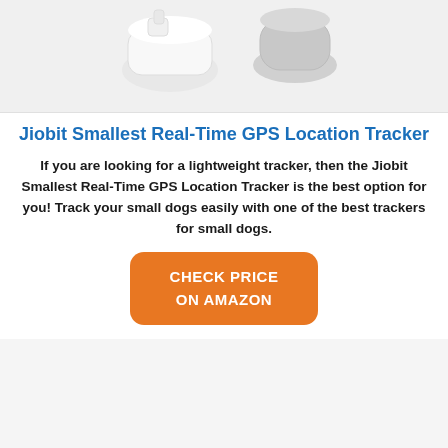[Figure (photo): Product photo of Jiobit GPS tracker devices on white/light gray background, showing small white and gray puck-shaped trackers]
Jiobit Smallest Real-Time GPS Location Tracker
If you are looking for a lightweight tracker, then the Jiobit Smallest Real-Time GPS Location Tracker is the best option for you! Track your small dogs easily with one of the best trackers for small dogs.
CHECK PRICE ON AMAZON